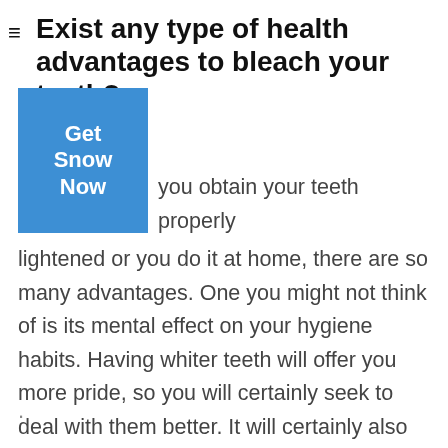Exist any type of health advantages to bleach your teeth?
[Figure (other): Blue button overlay with text 'Get Snow Now']
you obtain your teeth properly lightened or you do it at home, there are so many advantages. One you might not think of is its mental effect on your hygiene habits. Having whiter teeth will offer you more pride, so you will certainly seek to deal with them better. It will certainly also enhance your teeth, which will, subsequently, be beneficial to the health of your gum tissues.
.